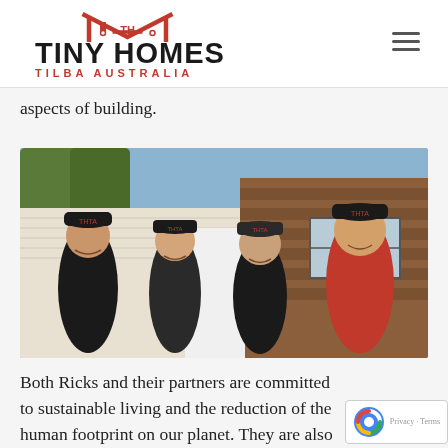Tiny Homes Tilba Australia — logo and navigation
aspects of building.
[Figure (photo): Four people wearing Tiny Homes branded caps and jackets standing in front of a small timber and corrugated metal building]
Both Ricks and their partners are committed to sustainable living and the reduction of the human footprint on our planet. They are also committed to supporting local suppliers and